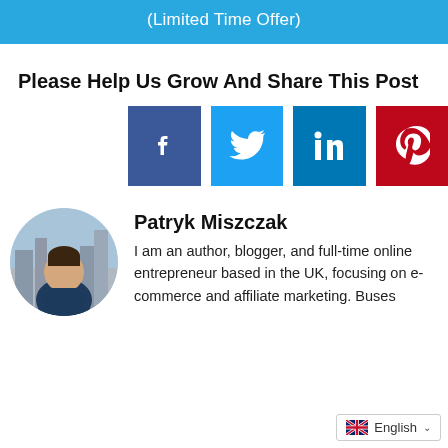[Figure (other): Blue banner button with text '(Limited Time Offer)']
Please Help Us Grow And Share This Post
[Figure (other): Social media share icons: Facebook (dark blue), Twitter (light blue), LinkedIn (dark blue), Pinterest (red)]
[Figure (photo): Circular profile photo of Patryk Miszczak, a young man in a dark blue shirt, city background]
Patryk Miszczak
I am an author, blogger, and full-time online entrepreneur based in the UK, focusing on e-commerce and affiliate marketing. Bus...es
[Figure (other): Language selector overlay showing UK flag and 'English' with dropdown chevron]